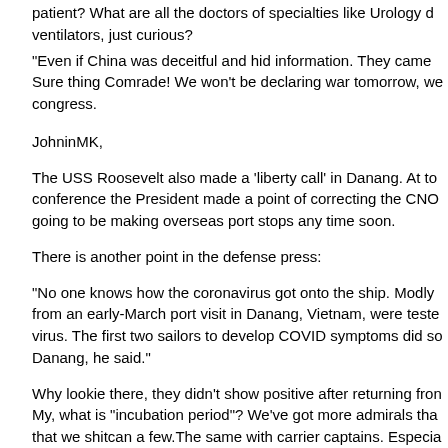patient? What are all the doctors of specialties like Urology d ventilators, just curious?
"Even if China was deceitful and hid information. They came Sure thing Comrade! We won't be declaring war tomorrow, we congress.
JohninMK,
The USS Roosevelt also made a 'liberty call' in Danang. At to conference the President made a point of correcting the CNO going to be making overseas port stops any time soon.
There is another point in the defense press:
"No one knows how the coronavirus got onto the ship. Modly from an early-March port visit in Danang, Vietnam, were teste virus. The first two sailors to develop COVID symptoms did so Danang, he said."
Why lookie there, they didn't show positive after returning fron My, what is "incubation period"? We've got more admirals tha that we shitcan a few.The same with carrier captains. Especia CNO didn't bother to inform the Navy or Defense Secretary of Guam so he would come off look like an ass.